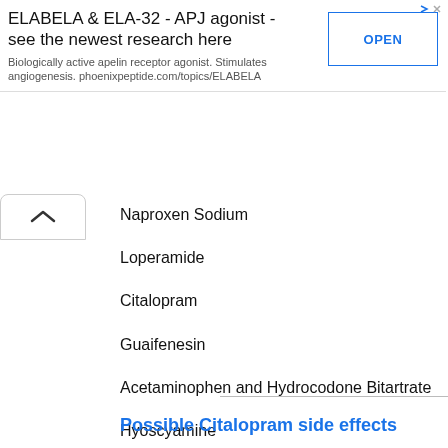[Figure (other): Advertisement banner for ELABELA & ELA-32 APJ agonist product with OPEN button]
Naproxen Sodium
Loperamide
Citalopram
Guaifenesin
Acetaminophen and Hydrocodone Bitartrate
Hyoscyamine
Montelukast
Ibuprofen
Rosuvastatin
Possible Citalopram side effects